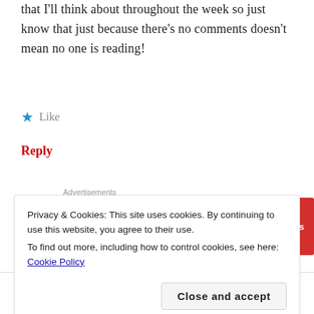that I'll think about throughout the week so just know that just because there's no comments doesn't mean no one is reading!
★ Like
Reply
[Figure (other): Pocket Casts advertisement banner with red background. Text reads 'An app by listeners, for listeners.' with Pocket Casts logo and icon on right.]
Privacy & Cookies: This site uses cookies. By continuing to use this website, you agree to their use.
To find out more, including how to control cookies, see here: Cookie Policy
Close and accept